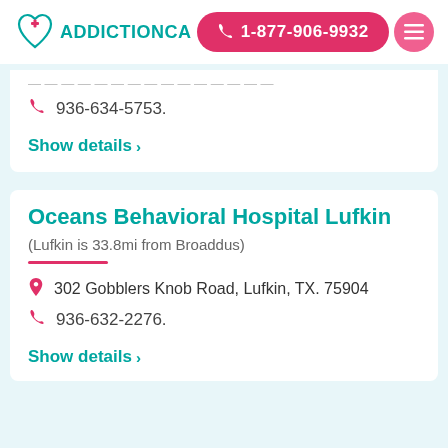ADDICTIONCA | 1-877-906-9932
936-634-5753.
Show details >
Oceans Behavioral Hospital Lufkin
(Lufkin is 33.8mi from Broaddus)
302 Gobblers Knob Road, Lufkin, TX. 75904
936-632-2276.
Show details >